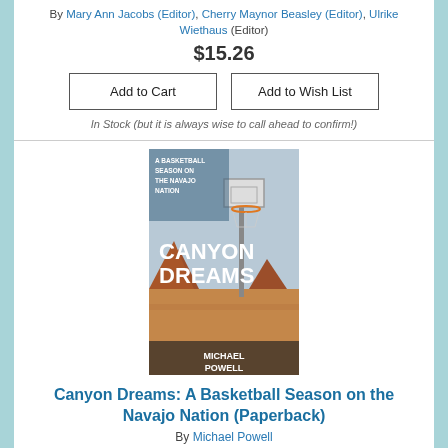By Mary Ann Jacobs (Editor), Cherry Maynor Beasley (Editor), Ulrike Wiethaus (Editor)
$15.26
Add to Cart
Add to Wish List
In Stock (but it is always wise to call ahead to confirm!)
[Figure (photo): Book cover for Canyon Dreams: A Basketball Season on the Navajo Nation by Michael Powell. Shows a basketball hoop against a desert landscape with red rock formations. Text reads: A Basketball Season on the Navajo Nation, Canyon Dreams, Michael Powell.]
Canyon Dreams: A Basketball Season on the Navajo Nation (Paperback)
By Michael Powell
$16.20
Add to Cart
Add to Wish List